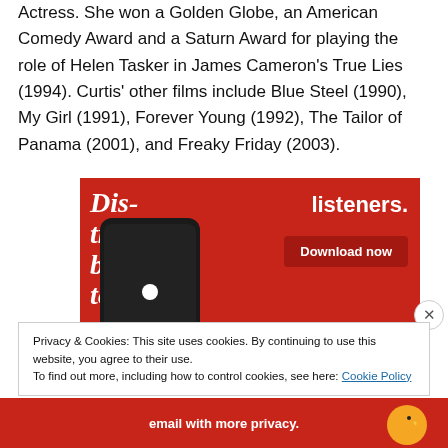Actress. She won a Golden Globe, an American Comedy Award and a Saturn Award for playing the role of Helen Tasker in James Cameron's True Lies (1994). Curtis' other films include Blue Steel (1990), My Girl (1991), Forever Young (1992), The Tailor of Panama (2001), and Freaky Friday (2003).
[Figure (screenshot): Advertisement showing a podcast app on a smartphone on a red background. Text reads 'Distributed.' on left and 'listeners.' on right with a 'Download now' button.]
Privacy & Cookies: This site uses cookies. By continuing to use this website, you agree to their use.
To find out more, including how to control cookies, see here: Cookie Policy
[Figure (screenshot): Bottom banner advertisement on red background with text 'email with more privacy.' and a duck icon on the right.]